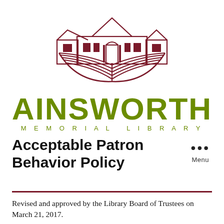[Figure (logo): Ainsworth Memorial Library logo: a dark red/maroon building silhouette above an open book, with 'AINSWORTH' in large olive/green letters and 'MEMORIAL LIBRARY' in spaced green capitals below]
Acceptable Patron Behavior Policy
Menu
Revised and approved by the Library Board of Trustees on March 21, 2017.